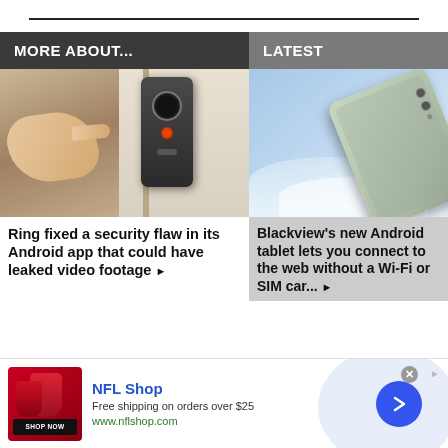MORE ABOUT...
LATEST
[Figure (photo): A hand pressing the button on a Ring video doorbell mounted on a door frame]
Ring fixed a security flaw in its Android app that could have leaked video footage ▶
[Figure (photo): A Blackview Android tablet resting on snow/ice with a beach water background]
Blackview's new Android tablet lets you connect to the web without a Wi-Fi or SIM car... ▶
[Figure (other): NFL Shop advertisement banner with red cups/products, Shop Now button, NFL Shop title, free shipping offer, and a blue arrow navigation button]